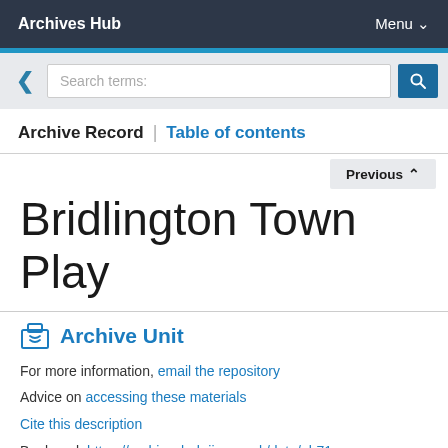Archives Hub | Menu
[Figure (screenshot): Search bar with back arrow and search icon button, placeholder text 'Search terms:']
Archive Record | Table of contents
Previous
Bridlington Town Play
Archive Unit
For more information, email the repository
Advice on accessing these materials
Cite this description
Bookmark:https://archiveshub.jisc.ac.uk/data/gb71-thm/23/thm/23/8
Next